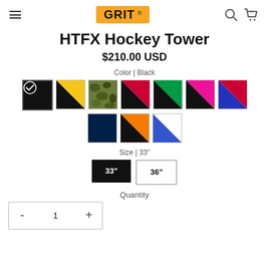GRIT (logo)
HTFX Hockey Tower
$210.00 USD
Color | Black
[Figure (other): Color swatch options: Black (selected with checkmark), Yellow/Black, Camo, Red/Black, Green/Black, Pink/Black, Red-Pink/Blue, Navy, Orange/Black, White/Blue]
Size | 33"
Size buttons: 33" (selected, black), 36" (unselected)
Quantity
- 1 +